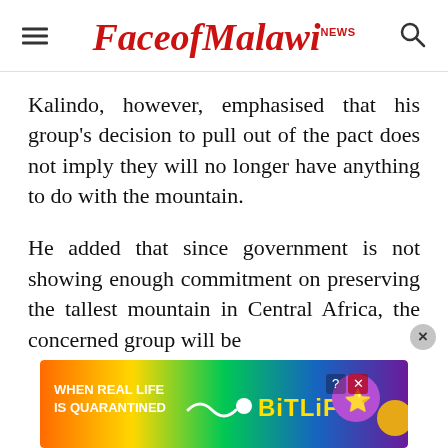FaceofMalawi NEWS
Kalindo, however, emphasised that his group's decision to pull out of the pact does not imply they will no longer have anything to do with the mountain.
He added that since government is not showing enough commitment on preserving the tallest mountain in Central Africa, the concerned group will be
[Figure (screenshot): BitLife advertisement banner: colourful gradient background with text 'WHEN REAL LIFE IS QUARANTINED' and BitLife logo with cartoon character icons]